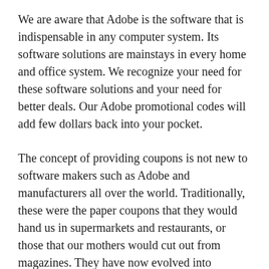We are aware that Adobe is the software that is indispensable in any computer system. Its software solutions are mainstays in every home and office system. We recognize your need for these software solutions and your need for better deals. Our Adobe promotional codes will add few dollars back into your pocket.
The concept of providing coupons is not new to software makers such as Adobe and manufacturers all over the world. Traditionally, these were the paper coupons that they would hand us in supermarkets and restaurants, or those that our mothers would cut out from magazines. They have now evolved into convenient online coupons either available in printable form that may also be used for offline purchases, or through coupon codes that need to be keyed in when making a purchase. Big companies such as Adobe provide these online coupons as well. Providing the Adobe coupon codes is one of the company's promotional